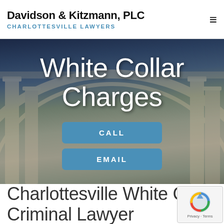Davidson & Kitzmann, PLC — CHARLOTTESVILLE LAWYERS
[Figure (photo): Hero image background of neoclassical building with columns, overlaid with large white text 'White Collar Charges' and two blue call-to-action buttons labeled CALL and EMAIL]
White Collar Charges
CALL
EMAIL
Charlottesville White Collar Criminal Lawyer